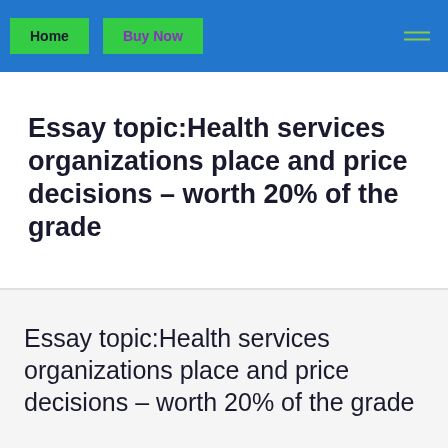Home | Buy Now
Essay topic:Health services organizations place and price decisions – worth 20% of the grade
Essay topic:Health services organizations place and price decisions – worth 20% of the grade